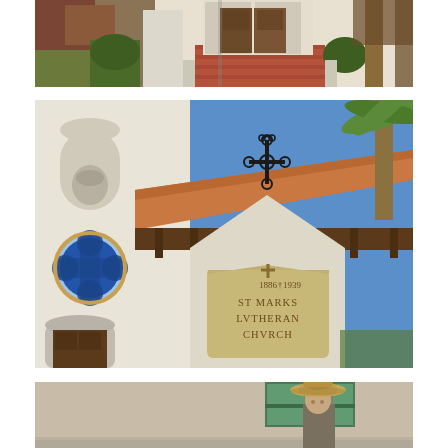[Figure (photo): Exterior entrance of a white church building with a red brick pathway leading to a brown wooden double door, flanked by trimmed green shrubs and a tree on the right side.]
[Figure (photo): Close-up of St. Mark's Lutheran Church exterior showing white Spanish-style architecture with a tile roof, an ornate iron cross on top, a quatrefoil window with blue stained glass on the left tower, and a stone plaque reading '1886 1939 ST MARKS LVTHERAN CHVRCH'.]
[Figure (photo): Statue of a person wearing a cowboy hat in front of a light-colored building with a green-framed window, partially cropped at the bottom of the page.]